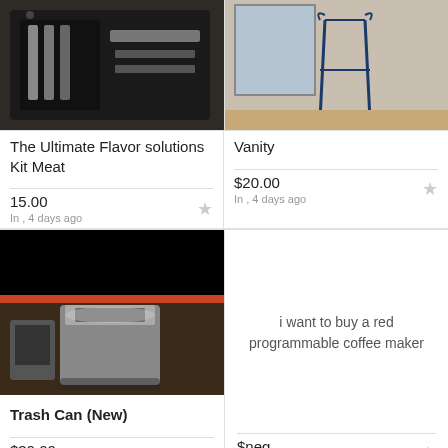[Figure (photo): Photo of a knife/utensil set in a black case on a wooden surface]
The Ultimate Flavor solutions Kit Meat
15.00
In , 4 days ago
[Figure (photo): Photo of a black metal vanity/bench with blue accents on tile floor]
Vanity
$20.00
In , 4 days ago
[Figure (photo): Photo of a trash can (new) - black and silver, partially blacked out at top]
Trash Can (New)
$39.00
In St Robert, 4 days ago
i want to buy a red programmable coffee maker
$neg
In Fort Leonard-Wood, 5 days ago
[Figure (photo): Green colored listing card (partial, cut off at bottom)]